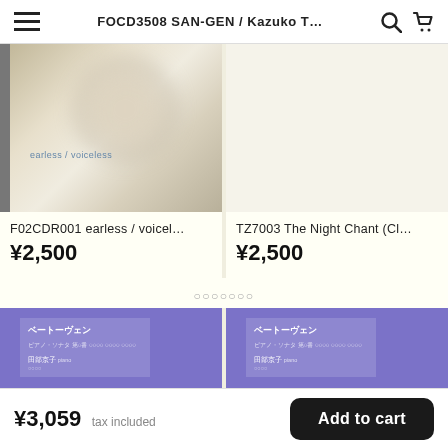FOCD3508 SAN-GEN / Kazuko T...
[Figure (photo): CD cover of earless / voiceless album with blurry grey/beige abstract image]
F02CDR001 earless / voicel...
¥2,500
[Figure (photo): Right product placeholder – blank cream background]
TZ7003 The Night Chant (Cl...
¥2,500
○○○○○○○
[Figure (photo): Purple CD cover with Japanese text ベートーヴェン and BEETHOVEN at bottom]
[Figure (photo): Purple CD cover with Japanese text ベートーヴェン and BEETHOVEN at bottom (right copy)]
¥3,059 tax included   Add to cart